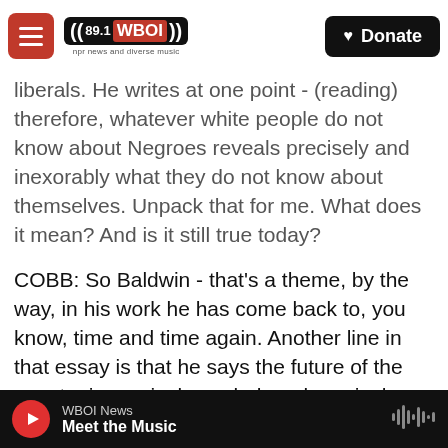[Figure (screenshot): WBOI 89.1 radio website navigation bar with hamburger menu, WBOI logo, and Donate button over a background showing a capitol building]
liberals. He writes at one point - (reading) therefore, whatever white people do not know about Negroes reveals precisely and inexorably what they do not know about themselves. Unpack that for me. What does it mean? And is it still true today?
COBB: So Baldwin - that's a theme, by the way, in his work he has come back to, you know, time and time again. Another line in that essay is that he says the future of the country is precisely as dark and precisely as bright as the future of the Negro. And when he says what they don't know about the Negro is what they - precisely what they don't know about themselves is that the future...Black life
WBOI News
Meet the Music